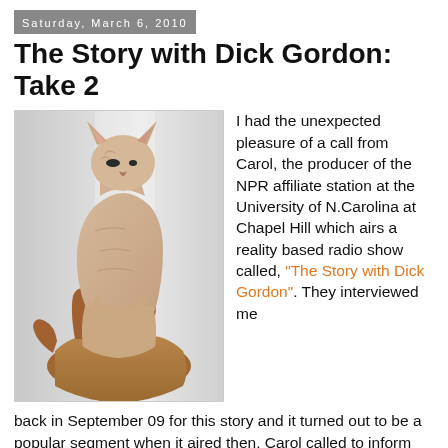Saturday, March 6, 2010
The Story with Dick Gordon: Take 2
[Figure (photo): A hairless Sphynx cat kitten being held up by a human hand, photographed against a light background.]
I had the unexpected pleasure of a call from Carol, the producer of the NPR affiliate station at the University of N.Carolina at Chapel Hill which airs a reality based radio show called, "The Story with Dick Gordon". They interviewed me back in September 09 for this story and it turned out to be a popular segment when it aired then. Carol called to inform me that they were planning to run it again as an Academy